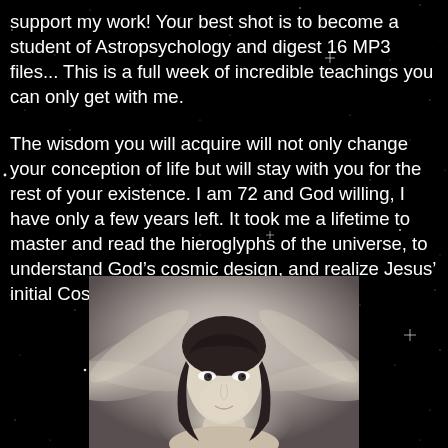support my work! Your best shot is to become a student of Astropsychology and digest 16 MP3 files... This is a full week of incredible teachings you can only get with me.
The wisdom you will acquire will not only change your conception of life but will stay with you for the rest of your existence. I am 72 and God willing, I have only a few years left. It took me a lifetime to master and read the hieroglyphs of the universe, to understand God's cosmic design, and realize Jesus' initial Cosmic Ministry...
[Figure (photo): A mystical or fantasy-style photo of a woman with dark hair and ethereal wing-like light rays emanating from behind her head/shoulders, on a grey background.]